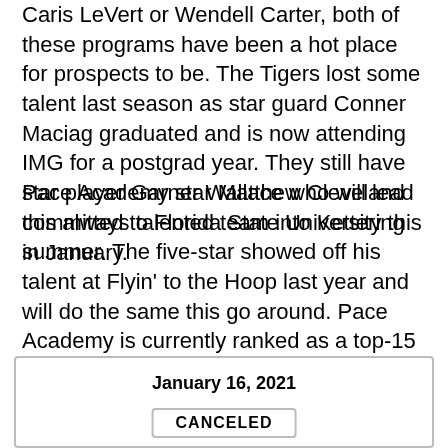Caris LeVert or Wendell Carter, both of these programs have been a hot place for prospects to be. The Tigers lost some talent last season as star guard Conner Maciag graduated and is now attending IMG for a postgrad year. They still have star player Garner Wallace who will lead this always talented team into Kettering in January.
Pace Academy star Matthew Cleveland committed to Florida State University this summer. The five-star showed off his talent at Flyin' to the Hoop last year and will do the same this go around. Pace Academy is currently ranked as a top-15 team in the country and will be a good contest with a top team in the state in Pickerington Central.
| January 16, 2021 |
| --- |
| CANCELED |